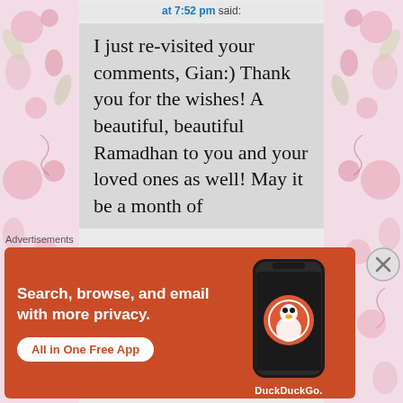at 7:52 pm said:
I just re-visited your comments, Gian:) Thank you for the wishes! A beautiful, beautiful Ramadhan to you and your loved ones as well! May it be a month of
Advertisements
[Figure (screenshot): DuckDuckGo advertisement banner with orange background. Text reads: Search, browse, and email with more privacy. All in One Free App. Shows a phone with DuckDuckGo logo.]